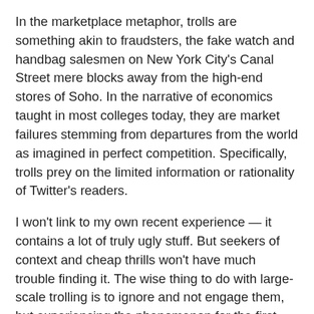In the marketplace metaphor, trolls are something akin to fraudsters, the fake watch and handbag salesmen on New York City's Canal Street mere blocks away from the high-end stores of Soho. In the narrative of economics taught in most colleges today, they are market failures stemming from departures from the world as imagined in perfect competition. Specifically, trolls prey on the limited information or rationality of Twitter's readers.
I won't link to my own recent experience — it contains a lot of truly ugly stuff. But seekers of context and cheap thrills won't have much trouble finding it. The wise thing to do with large-scale trolling is to ignore and not engage them, but experiencing the phenomenon for the first time oneself is singularly unsettling, and by the definition above I was beaten badly.
One can find many more criticisms of free markets that